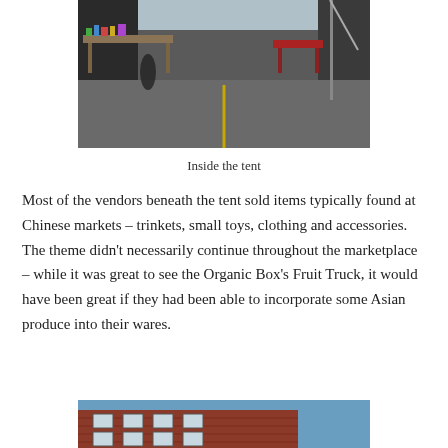[Figure (photo): Photo of vendors beneath a tent at an outdoor market, with tables of goods visible and a yellow line on the pavement.]
Inside the tent
Most of the vendors beneath the tent sold items typically found at Chinese markets – trinkets, small toys, clothing and accessories. The theme didn't necessarily continue throughout the marketplace – while it was great to see the Organic Box's Fruit Truck, it would have been great if they had been able to incorporate some Asian produce into their wares.
[Figure (photo): Photo of a red brick building exterior with windows and blue sky visible.]